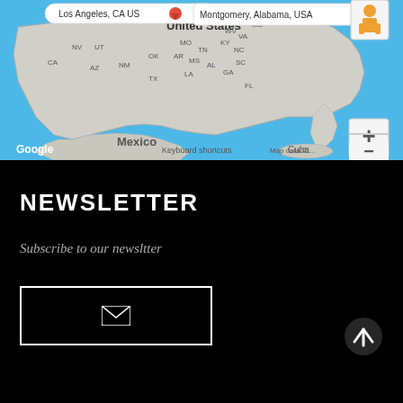[Figure (map): Google Maps view of United States showing state abbreviations, with location pins for Los Angeles CA and Montgomery Alabama USA. Map controls visible including zoom in/out and street view person icon. Mexico and Cuba visible at bottom. Google branding and Keyboard shortcuts label visible.]
NEWSLETTER
Subscribe to our newsltter
[Figure (other): White envelope icon inside a white-bordered rectangular button, used for newsletter subscription.]